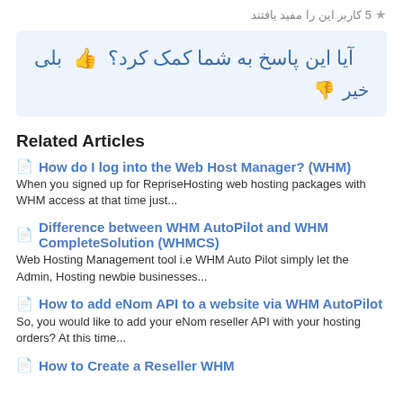★ 5 کاربر این را مفید یافتند
[Figure (other): Feedback box with Persian text asking 'Did this answer help you?' with thumbs up (بلی/Yes) and thumbs down (خیر/No) options on a light blue background]
Related Articles
How do I log into the Web Host Manager? (WHM) — When you signed up for RepriseHosting web hosting packages with WHM access at that time just...
Difference between WHM AutoPilot and WHM CompleteSolution (WHMCS) — Web Hosting Management tool i.e WHM Auto Pilot simply let the Admin, Hosting newbie businesses...
How to add eNom API to a website via WHM AutoPilot — So, you would like to add your eNom reseller API with your hosting orders? At this time...
How to Create a Reseller WHM